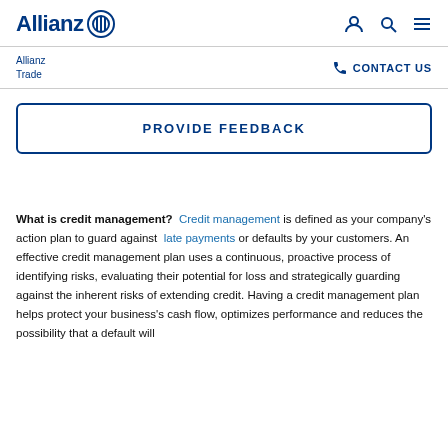Allianz [logo]
Allianz Trade  CONTACT US
PROVIDE FEEDBACK
What is credit management? Credit management is defined as your company's action plan to guard against late payments or defaults by your customers. An effective credit management plan uses a continuous, proactive process of identifying risks, evaluating their potential for loss and strategically guarding against the inherent risks of extending credit. Having a credit management plan helps protect your business's cash flow, optimizes performance and reduces the possibility that a default will